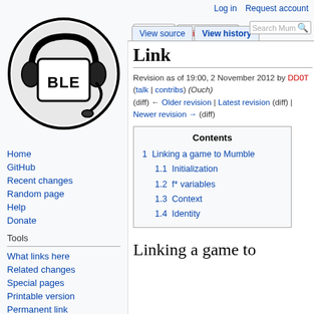Log in   Request account
[Figure (logo): Mumble wiki logo — circular black and white icon with headset and BLE text]
Home
GitHub
Recent changes
Random page
Help
Donate
Tools
What links here
Related changes
Special pages
Printable version
Permanent link
Page information
Link
Revision as of 19:00, 2 November 2012 by DD0T (talk | contribs) (Ouch) (diff) ← Older revision | Latest revision (diff) | Newer revision → (diff)
| Contents |
| --- |
| 1  Linking a game to Mumble |
| 1.1  Initialization |
| 1.2  f* variables |
| 1.3  Context |
| 1.4  Identity |
Linking a game to